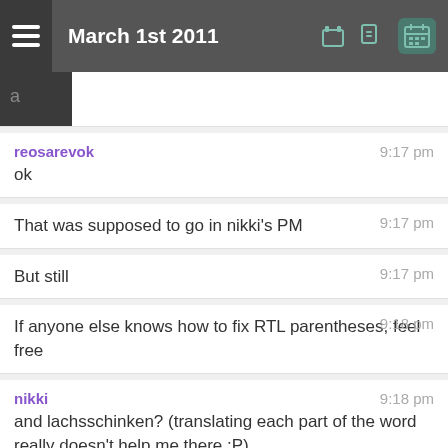March 1st 2011
ok — reosarevok 9:17 pm
That was supposed to go in nikki's PM — 9:17 pm
But still — 9:17 pm
If anyone else knows how to fix RTL parentheses, feel free — 9:18 pm
nikki — and lachsschinken? (translating each part of the word really doesn't help me there :P) — 9:18 pm
reosarevok: somewhere we need to check if the title contains rtl characters and set the direction if it does — 9:19 pm